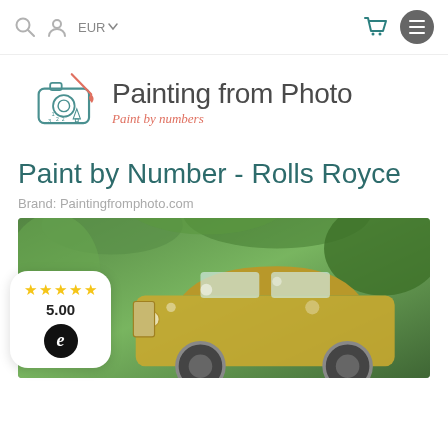EUR navigation bar with search, account, currency selector, cart, and menu icons
[Figure (logo): Painting from Photo logo: camera with paintbrush icon and text 'Painting from Photo' with subtitle 'Paint by numbers']
Paint by Number - Rolls Royce
Brand: Paintingfromphoto.com
[Figure (photo): Paint by numbers painting of an old Rolls Royce car in a green jungle/forest setting, partially visible at bottom of page. Rating badge overlay shows 5 gold stars, rating 5.00, and eTrusted badge.]